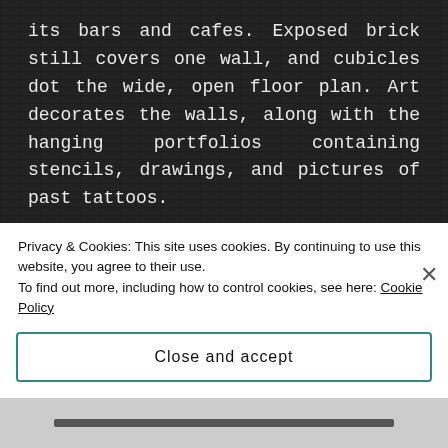its bars and cafes. Exposed brick still covers one wall, and cubicles dot the wide, open floor plan. Art decorates the walls, along with the hanging portfolios containing stencils, drawings, and pictures of past tattoos.
In front of the long desk stands a couple of glass cabinets stocked with Hard Knox Ink merchandise—shirts, hats, chains, jewelry. That had been Eden's idea. After retiring from the Bellum Fighter Championship, or the BFC, I'd wanted to completely separate myself from that part of my life. Hell, I'd named the shop after
Privacy & Cookies: This site uses cookies. By continuing to use this website, you agree to their use.
To find out more, including how to control cookies, see here: Cookie Policy
Close and accept